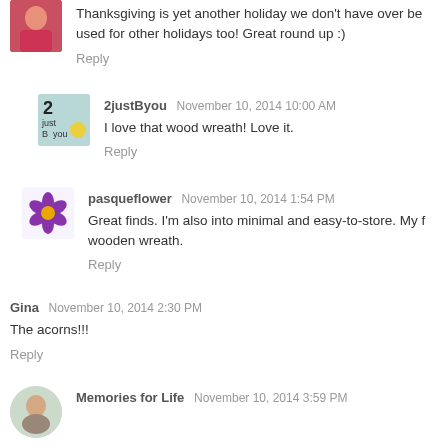[Figure (photo): Partial avatar of woman in red/pink top, cropped at top]
Thanksgiving is yet another holiday we don't have over be used for other holidays too! Great round up :)
Reply
[Figure (logo): 2justByou avatar logo - teal background with '2 just B you' text]
2justByou  November 10, 2014 10:00 AM
I love that wood wreath! Love it.
Reply
[Figure (illustration): pasqueflower avatar - purple flower with yellow center on white background]
pasqueflower  November 10, 2014 1:54 PM
Great finds. I'm also into minimal and easy-to-store. My f wooden wreath.
Reply
Gina  November 10, 2014 2:30 PM
The acorns!!!
Reply
[Figure (photo): Partial avatar of woman, cropped at bottom of page]
Memories for Life  November 10, 2014 3:59 PM